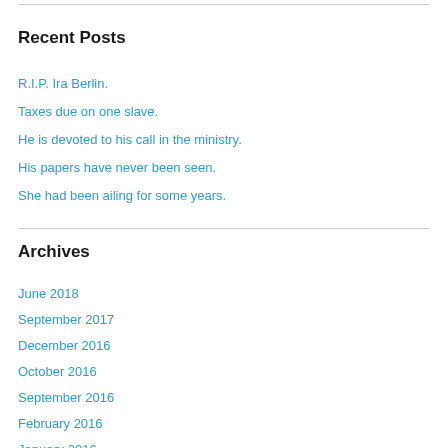Recent Posts
R.I.P. Ira Berlin.
Taxes due on one slave.
He is devoted to his call in the ministry.
His papers have never been seen.
She had been ailing for some years.
Archives
June 2018
September 2017
December 2016
October 2016
September 2016
February 2016
January 2016